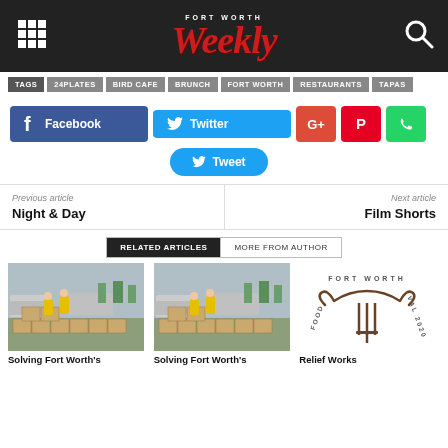Fort Worth Weekly
TAGS | 24PLATES | BIRD CAFE | BRUNCH | FORT WORTH | RESTAURANTS | TAPAS
[Figure (screenshot): Social share buttons: Facebook, Twitter, Google+, Pinterest, WhatsApp, and Tweet button]
Previous article
Night & Day
Next article
Film Shorts
RELATED ARTICLES | MORE FROM AUTHOR
[Figure (photo): Workers in yellow vests loading cardboard boxes outdoors – Solving Fort Worth's]
[Figure (photo): Workers in yellow vests loading cardboard boxes outdoors – Solving Fort Worth's]
[Figure (logo): Fort Worth Food Festival 2020 logo with longhorn and fork design – Relief Works]